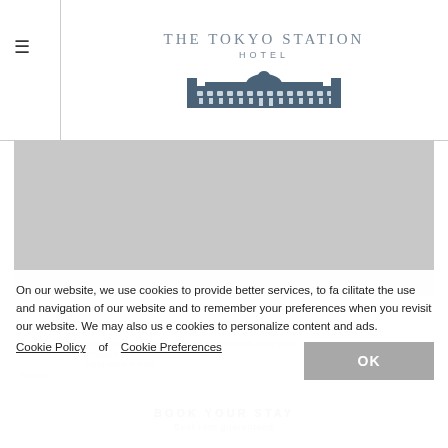The Tokyo Station Hotel
[Figure (photo): Gray placeholder image area for hotel or restaurant photo]
RESTAURANT BLANC ROUGE
About the restaurant description text (partially obscured by cookie overlay). Features classic French cuisine with modern western twists. Located in a prestigious fine dining venue in Tokyo features...
On our website, we use cookies to provide better services, to facilitate the use and navigation of our website and to remember your preferences when you revisit our website. We may also use cookies to personalize content and ads.
Cookie Policy | Cookie Preferences
OK
BOOK YOUR STAY
Best rate guaranteed